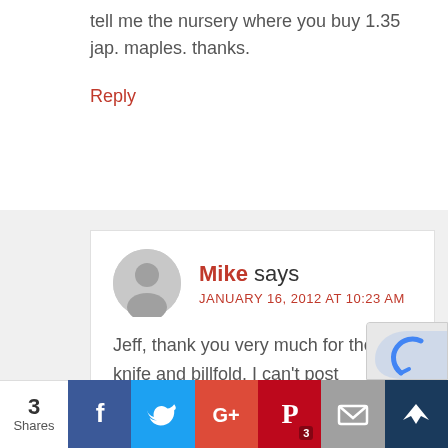tell me the nursery where you buy 1.35 jap. maples. thanks.
Reply
Mike says
JANUARY 16, 2012 AT 10:23 AM
Jeff, thank you very much for the knife and billfold. I can't post wholesale sources on this blog, but there are a couple of sources in the wholesale directory as well as the emails in the growers Ecourse. The source that I've used for years is in the directory.